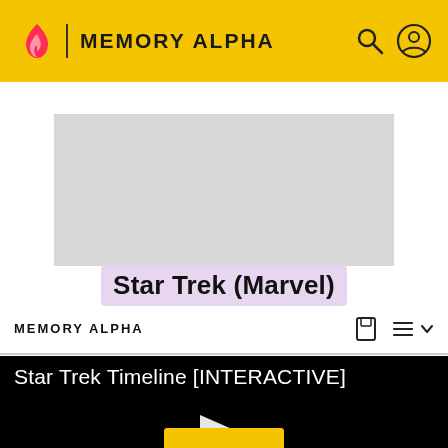MEMORY ALPHA
[Figure (screenshot): Grey advertisement placeholder rectangle]
ADVERTISEMENT
MEMORY ALPHA
Star Trek (Marvel)
Star Trek Timeline [INTERACTIVE]